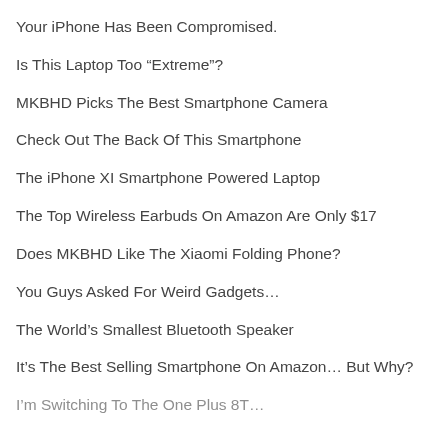Your iPhone Has Been Compromised.
Is This Laptop Too “Extreme”?
MKBHD Picks The Best Smartphone Camera
Check Out The Back Of This Smartphone
The iPhone XI Smartphone Powered Laptop
The Top Wireless Earbuds On Amazon Are Only $17
Does MKBHD Like The Xiaomi Folding Phone?
You Guys Asked For Weird Gadgets…
The World’s Smallest Bluetooth Speaker
It’s The Best Selling Smartphone On Amazon… But Why?
I’m Switching To The One Plus 8T…